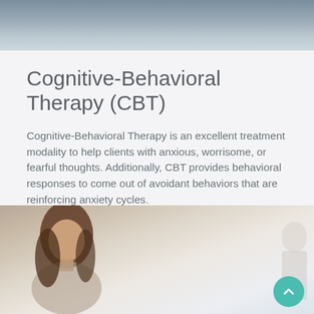[Figure (photo): Top portion of a photograph showing a blurred outdoor or indoor scene with gray-blue tones, partially cropped at the top of the page.]
Cognitive-Behavioral Therapy (CBT)
Cognitive-Behavioral Therapy is an excellent treatment modality to help clients with anxious, worrisome, or fearful thoughts. Additionally, CBT provides behavioral responses to come out of avoidant behaviors that are reinforcing anxiety cycles.
[Figure (photo): Photograph of a young woman with long brown hair, appearing to speak or listen, seated in what looks like a therapy or counseling setting. A blurred person is visible in the background on the right side.]